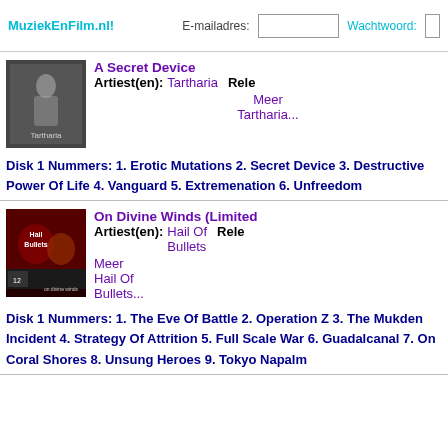MuziekEnFilm.nl! | E-mailadres: [input] | Wachtwoord: [input]
A Secret Device
Artiest(en): Tartharia  Rele... Meer Tartharia...
Disk 1 Nummers: 1. Erotic Mutations 2. Secret Device 3. Destructive Power Of Life 4. Vanguard 5. Extremenation 6. Unfreedom
On Divine Winds (Limited...
Artiest(en): Hail Of Bullets  Rele... Meer Hail Of Bullets...
Disk 1 Nummers: 1. The Eve Of Battle 2. Operation Z 3. The Mukden Incident 4. Strategy Of Attrition 5. Full Scale War 6. Guadalcanal 7. On Coral Shores 8. Unsung Heroes 9. Tokyo Napalm